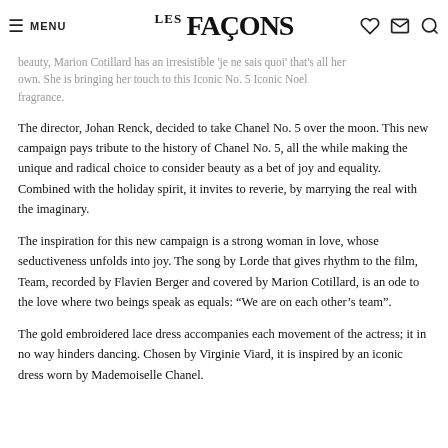MENU | LES FAÇONS
beauty, Marion Cotillard has an irresistible 'je ne sais quoi' that's all her own. She is bringing her touch to this Iconic No. 5 Iconic Noel fragrance.
The director, Johan Renck, decided to take Chanel No. 5 over the moon. This new campaign pays tribute to the history of Chanel No. 5, all the while making the unique and radical choice to consider beauty as a bet of joy and equality. Combined with the holiday spirit, it invites to reverie, by marrying the real with the imaginary.
The inspiration for this new campaign is a strong woman in love, whose seductiveness unfolds into joy. The song by Lorde that gives rhythm to the film, Team, recorded by Flavien Berger and covered by Marion Cotillard, is an ode to the love where two beings speak as equals: "We are on each other's team".
The gold embroidered lace dress accompanies each movement of the actress; it in no way hinders dancing. Chosen by Virginie Viard, it is inspired by an iconic dress worn by Mademoiselle Chanel.